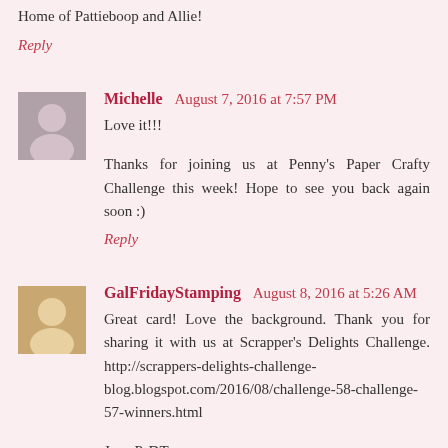Home of Pattieboop and Allie!
Reply
Michelle  August 7, 2016 at 7:57 PM
Love it!!!
Thanks for joining us at Penny's Paper Crafty Challenge this week! Hope to see you back again soon :)
Reply
GalFridayStamping  August 8, 2016 at 5:26 AM
Great card! Love the background. Thank you for sharing it with us at Scrapper's Delights Challenge. http://scrappers-delights-challenge-blog.blogspot.com/2016/08/challenge-58-challenge-57-winners.html
Jane P. DT
Reply